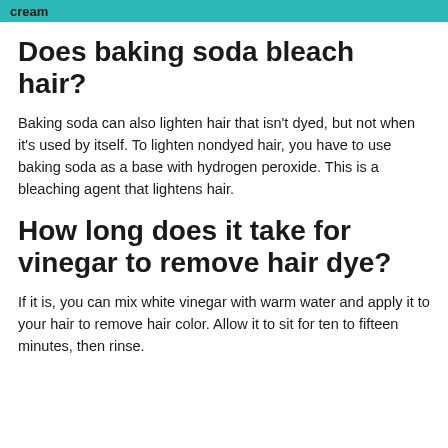cream
Does baking soda bleach hair?
Baking soda can also lighten hair that isn't dyed, but not when it's used by itself. To lighten nondyed hair, you have to use baking soda as a base with hydrogen peroxide. This is a bleaching agent that lightens hair.
How long does it take for vinegar to remove hair dye?
If it is, you can mix white vinegar with warm water and apply it to your hair to remove hair color. Allow it to sit for ten to fifteen minutes, then rinse.